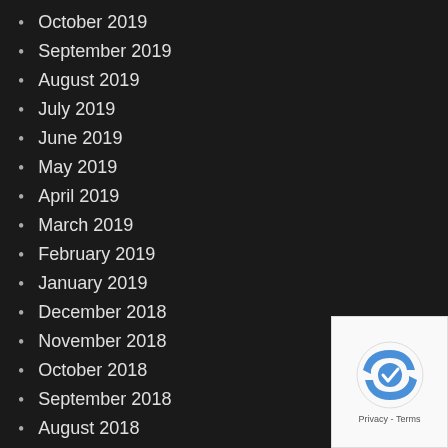October 2019
September 2019
August 2019
July 2019
June 2019
May 2019
April 2019
March 2019
February 2019
January 2019
December 2018
November 2018
October 2018
September 2018
August 2018
July 2018
June 2018
May 2018
April 2018
March 2018
February 2018
[Figure (logo): reCAPTCHA badge with Privacy and Terms links]